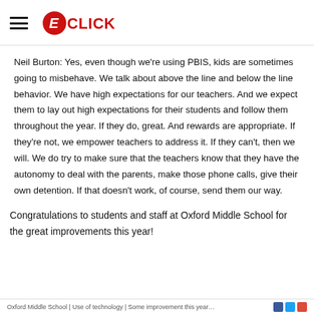EDCLICK
Neil Burton: Yes, even though we’re using PBIS, kids are sometimes going to misbehave. We talk about above the line and below the line behavior. We have high expectations for our teachers. And we expect them to lay out high expectations for their students and follow them throughout the year. If they do, great. And rewards are appropriate. If they’re not, we empower teachers to address it. If they can’t, then we will. We do try to make sure that the teachers know that they have the autonomy to deal with the parents, make those phone calls, give their own detention. If that doesn’t work, of course, send them our way.
Congratulations to students and staff at Oxford Middle School for the great improvements this year!
Oxford Middle School | Some description from page